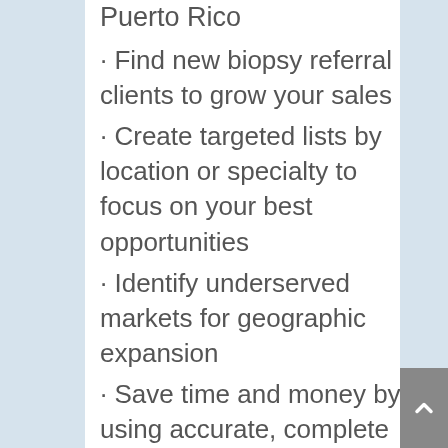Puerto Rico
· Find new biopsy referral clients to grow your sales
· Create targeted lists by location or specialty to focus on your best opportunities
· Identify underserved markets for geographic expansion
· Save time and money by using accurate, complete and consistent data